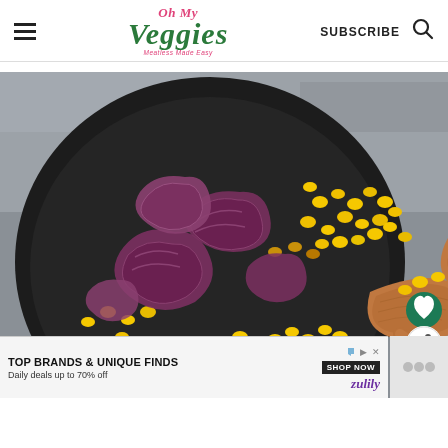Oh My Veggies — Meatless Made Easy | SUBSCRIBE
[Figure (photo): Cast iron skillet with roasted corn kernels and purple/red onion pieces, being stirred with a wooden spoon, photographed from above on a grey concrete background.]
TOP BRANDS & UNIQUE FINDS
Daily deals up to 70% off
SHOP NOW
zulily